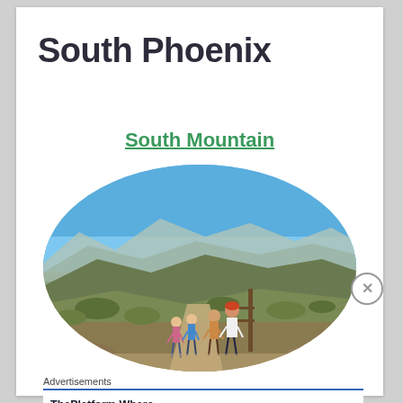South Phoenix
South Mountain
[Figure (photo): Oval-cropped photo of hikers on a desert mountain trail at South Mountain, Phoenix. Clear blue sky, desert vegetation including saguaro cacti, mountain ridgeline in background, several people hiking along a dirt path.]
Advertisements
ThePlatform Where WordPress Works Best